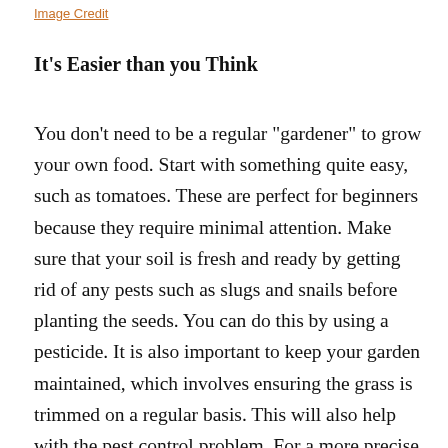Image Credit
It’s Easier than you Think
You don’t need to be a regular “gardener” to grow your own food. Start with something quite easy, such as tomatoes. These are perfect for beginners because they require minimal attention. Make sure that your soil is fresh and ready by getting rid of any pests such as slugs and snails before planting the seeds. You can do this by using a pesticide. It is also important to keep your garden maintained, which involves ensuring the grass is trimmed on a regular basis. This will also help with the pest control problem. For a more precise job, opt for Hand propelled Petrol Lawn mowers such as those